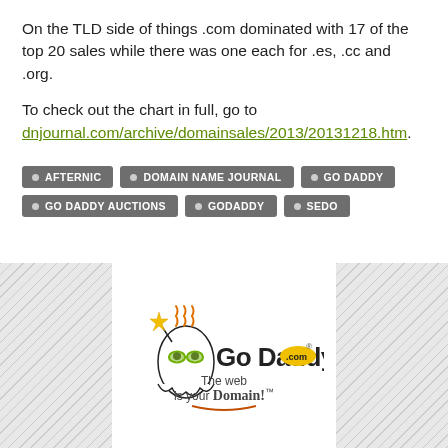On the TLD side of things .com dominated with 17 of the top 20 sales while there was one each for .es, .cc and .org.
To check out the chart in full, go to dnjournal.com/archive/domainsales/2013/20131218.htm.
AFTERNIC
DOMAIN NAME JOURNAL
GO DADDY
GO DADDY AUCTIONS
GODADDY
SEDO
[Figure (logo): GoDaddy.com logo with cartoon ghost character holding a star wand, wearing green glasses. Text reads 'Go Daddy .com The web is your Domain!']